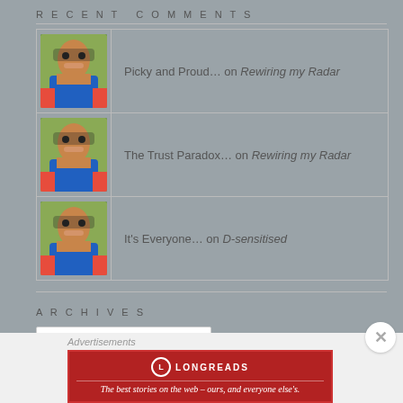RECENT COMMENTS
Picky and Proud… on Rewiring my Radar
The Trust Paradox… on Rewiring my Radar
It's Everyone… on D-sensitised
ARCHIVES
Select Month
CATEGORIES
Select Category
Advertisements
[Figure (logo): Longreads advertisement banner: red background with Longreads circular logo and tagline 'The best stories on the web – ours, and everyone else's.']